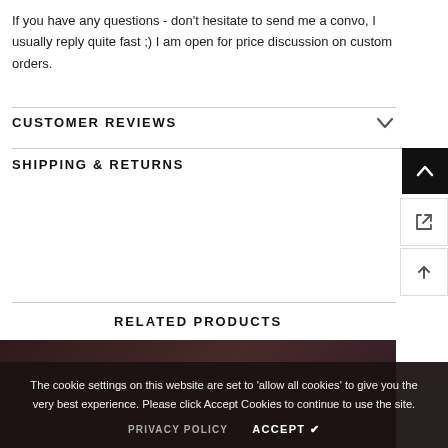If you have any questions - don't hesitate to send me a convo, I usually reply quite fast ;) I am open for price discussion on custom orders.
CUSTOMER REVIEWS
SHIPPING & RETURNS
RELATED PRODUCTS
The cookie settings on this website are set to 'allow all cookies' to give you the very best experience. Please click Accept Cookies to continue to use the site.
PRIVACY POLICY
ACCEPT ✔